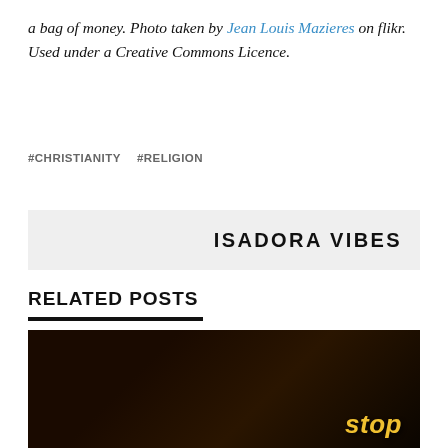a bag of money. Photo taken by Jean Louis Mazieres on flikr. Used under a Creative Commons Licence.
#CHRISTIANITY   #RELIGION
ISADORA VIBES
RELATED POSTS
[Figure (photo): Dark photograph, predominantly black background with a yellow/gold illuminated 'stop' text in the lower right corner.]